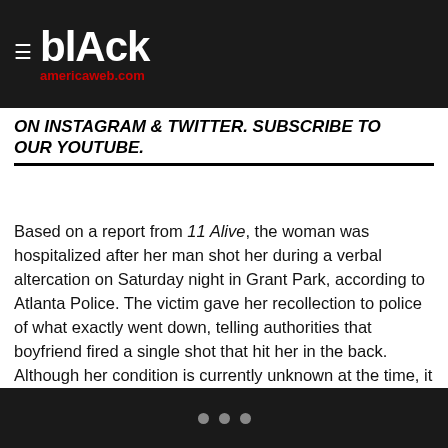blAck americaweb.com
ON INSTAGRAM & TWITTER. SUBSCRIBE TO OUR YOUTUBE.
Based on a report from 11 Alive, the woman was hospitalized after her man shot her during a verbal altercation on Saturday night in Grant Park, according to Atlanta Police. The victim gave her recollection to police of what exactly went down, telling authorities that boyfriend fired a single shot that hit her in the back. Although her condition is currently unknown at the time, it has been confirmed that she's in stable condition after being transported to Grady Hospital.
• • •